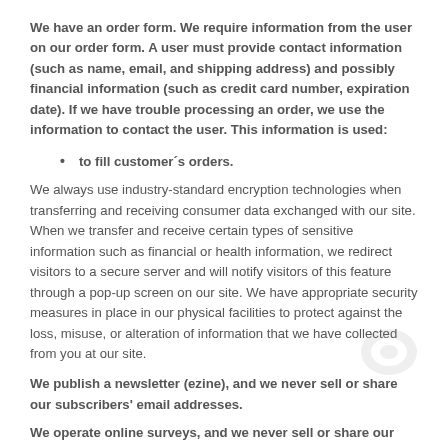We have an order form. We require information from the user on our order form. A user must provide contact information (such as name, email, and shipping address) and possibly financial information (such as credit card number, expiration date). If we have trouble processing an order, we use the information to contact the user. This information is used:
to fill customer´s orders.
We always use industry-standard encryption technologies when transferring and receiving consumer data exchanged with our site. When we transfer and receive certain types of sensitive information such as financial or health information, we redirect visitors to a secure server and will notify visitors of this feature through a pop-up screen on our site. We have appropriate security measures in place in our physical facilities to protect against the loss, misuse, or alteration of information that we have collected from you at our site.
We publish a newsletter (ezine), and we never sell or share our subscribers' email addresses.
We operate online surveys, and we never sell or share our subscribers' email addresses.